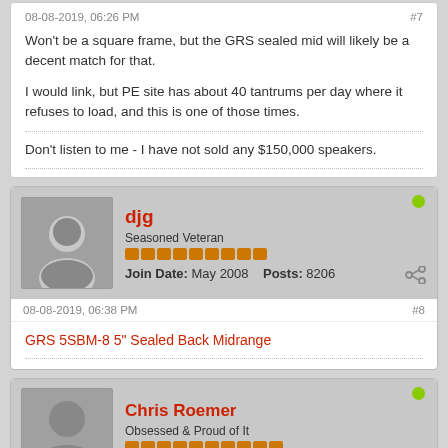Won't be a square frame, but the GRS sealed mid will likely be a decent match for that.

I would link, but PE site has about 40 tantrums per day where it refuses to load, and this is one of those times.
Don't listen to me - I have not sold any $150,000 speakers.
djg
Seasoned Veteran
Join Date: May 2008  Posts: 8206
08-08-2019, 06:38 PM  #8
GRS 5SBM-8 5" Sealed Back Midrange
Chris Roemer
Obsessed & Proud of It